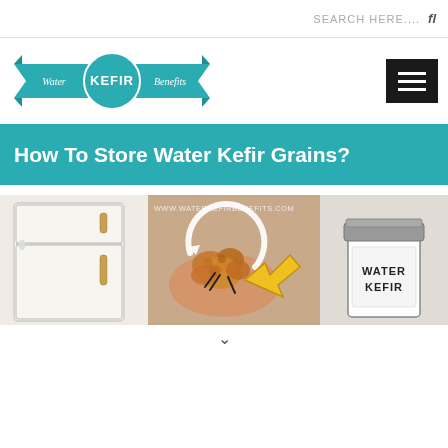SEARCH HERE....
[Figure (logo): Water Kefir Benefits logo with teal circular emblem and ribbon banner]
How To Store Water Kefir Grains?
[Figure (infographic): Infographic showing how to store water kefir grains: refrigerator illustration on left, hands holding amber kefir grains in center with circular arrows and yellow arrow, jar labeled WATER KEFIR on right. Watermark: WWW.WATERKEFIRBENEFITS.COM]